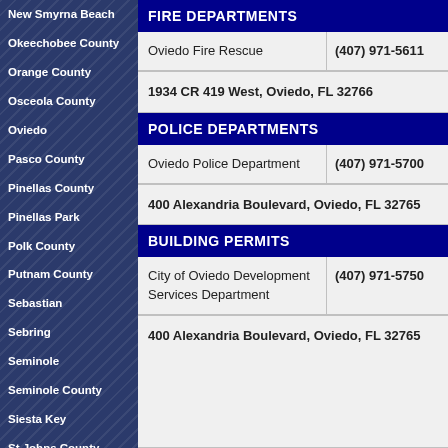New Smyrna Beach
Okeechobee County
Orange County
Osceola County
Oviedo
Pasco County
Pinellas County
Pinellas Park
Polk County
Putnam County
Sebastian
Sebring
Seminole
Seminole County
Siesta Key
St Johns County
St Lucie County
Sumter County
Sun City Center
FIRE DEPARTMENTS
| Name | Phone |
| --- | --- |
| Oviedo Fire Rescue | (407) 971-5611 |
1934 CR 419 West, Oviedo, FL 32766
POLICE DEPARTMENTS
| Name | Phone |
| --- | --- |
| Oviedo Police Department | (407) 971-5700 |
400 Alexandria Boulevard, Oviedo, FL 32765
BUILDING PERMITS
| Name | Phone |
| --- | --- |
| City of Oviedo Development Services Department | (407) 971-5750 |
400 Alexandria Boulevard, Oviedo, FL 32765